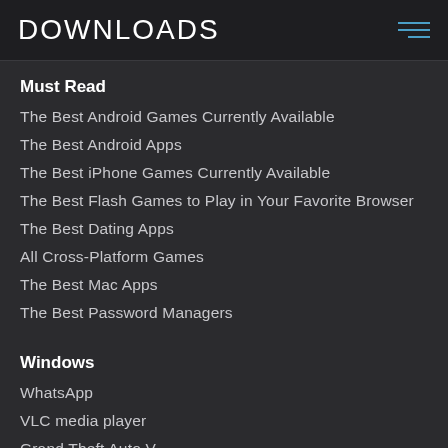DOWNLOADS
Must Read
The Best Android Games Currently Available
The Best Android Apps
The Best iPhone Games Currently Available
The Best Flash Games to Play in Your Favorite Browser
The Best Dating Apps
All Cross-Platform Games
The Best Mac Apps
The Best Password Managers
Windows
WhatsApp
VLC media player
Grand Theft Auto V
AnyDesk